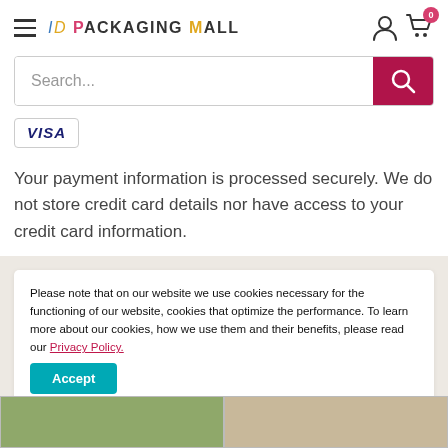[Figure (logo): ID Packaging Mall logo with hamburger menu icon]
[Figure (screenshot): Search bar with magnifying glass button in dark red]
[Figure (logo): Visa payment badge in a bordered box]
Your payment information is processed securely. We do not store credit card details nor have access to your credit card information.
Please note that on our website we use cookies necessary for the functioning of our website, cookies that optimize the performance. To learn more about our cookies, how we use them and their benefits, please read our Privacy Policy.